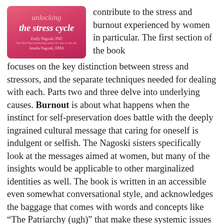[Figure (illustration): Book cover for 'Burnout: Unlocking the Stress Cycle' by Emily Nagoski, PhD and Amelia Nagoski, DMA. Pink/rose gradient background with italic white title text.]
contribute to the stress and burnout experienced by women in particular. The first section of the book focuses on the key distinction between stress and stressors, and the separate techniques needed for dealing with each. Parts two and three delve into underlying causes. Burnout is about what happens when the instinct for self-preservation does battle with the deeply ingrained cultural message that caring for oneself is indulgent or selfish. The Nagoski sisters specifically look at the messages aimed at women, but many of the insights would be applicable to other marginalized identities as well. The book is written in an accessible even somewhat conversational style, and acknowledges the baggage that comes with words and concepts like “The Patriarchy (ugh)” that make these systemic issues difficult to talk about.